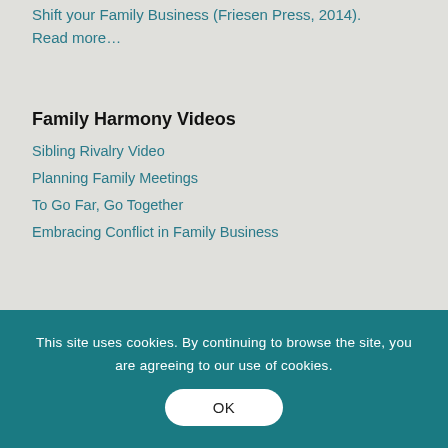Shift your Family Business (Friesen Press, 2014). Read more…
Family Harmony Videos
Sibling Rivalry Video
Planning Family Meetings
To Go Far, Go Together
Embracing Conflict in Family Business
This site uses cookies. By continuing to browse the site, you are agreeing to our use of cookies. OK